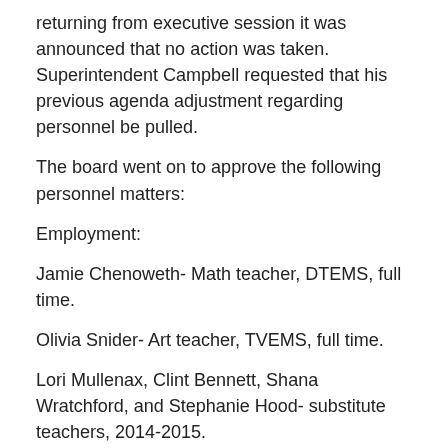returning from executive session it was announced that no action was taken. Superintendent Campbell requested that his previous agenda adjustment regarding personnel be pulled.
The board went on to approve the following personnel matters:
Employment:
Jamie Chenoweth- Math teacher, DTEMS, full time.
Olivia Snider- Art teacher, TVEMS, full time.
Lori Mullenax, Clint Bennett, Shana Wratchford, and Stephanie Hood- substitute teachers, 2014-2015.
Arthur (Sonny) Carr- substitute bus operator.
Tina Price- substitute custodian.